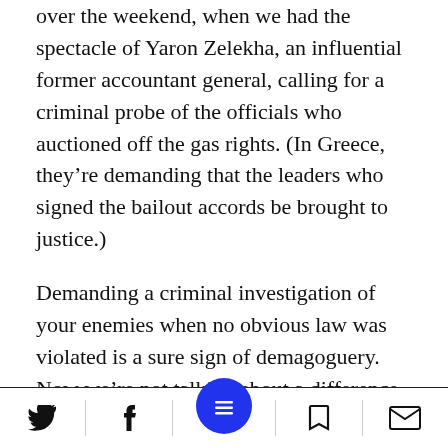over the weekend, when we had the spectacle of Yaron Zelekha, an influential former accountant general, calling for a criminal probe of the officials who auctioned off the gas rights. (In Greece, they’re demanding that the leaders who signed the bailout accords be brought to justice.)
Demanding a criminal investigation of your enemies when no obvious law was violated is a sure sign of demagoguery. Now we’re not talking about a difference of opinion, but a criminal act. All you need now is a people’s court to bring a guilty verdict.